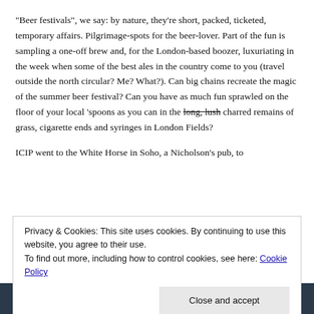“Beer festivals”, we say: by nature, they’re short, packed, ticketed, temporary affairs. Pilgrimage-spots for the beer-lover. Part of the fun is sampling a one-off brew and, for the London-based boozer, luxuriating in the week when some of the best ales in the country come to you (travel outside the north circular? Me? What?). Can big chains recreate the magic of the summer beer festival? Can you have as much fun sprawled on the floor of your local ‘spoons as you can in the long, lush charred remains of grass, cigarette ends and syringes in London Fields?
ICIP went to the White Horse in Soho, a Nicholson’s pub, to
Privacy & Cookies: This site uses cookies. By continuing to use this website, you agree to their use.
To find out more, including how to control cookies, see here: Cookie Policy
[Figure (photo): Bottom strip showing a pub sign with WHITE HO... visible text on dark background]